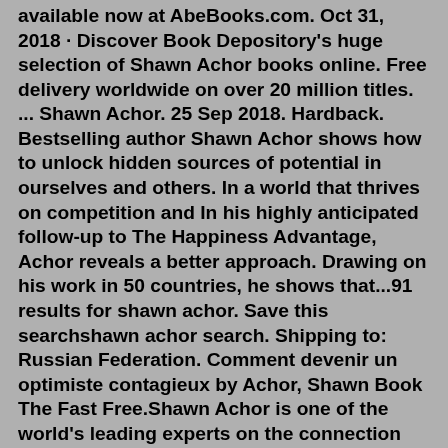available now at AbeBooks.com. Oct 31, 2018 · Discover Book Depository's huge selection of Shawn Achor books online. Free delivery worldwide on over 20 million titles. ... Shawn Achor. 25 Sep 2018. Hardback. Bestselling author Shawn Achor shows how to unlock hidden sources of potential in ourselves and others. In a world that thrives on competition and In his highly anticipated follow-up to The Happiness Advantage, Achor reveals a better approach. Drawing on his work in 50 countries, he shows that...91 results for shawn achor. Save this searchshawn achor search. Shipping to: Russian Federation. Comment devenir un optimiste contagieux by Achor, Shawn Book The Fast Free.Shawn Achor is one of the world's leading experts on the connection between happiness, success and potential. His research on mindset made the cover of Harvard Business Review, and his TED talk is one of the most popular of all time with 16 million views. He has worked with over a third of the